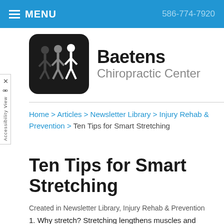MENU   586-774-7920
[Figure (logo): Baetens Chiropractic Center logo — black rounded square with three human figures, beside the text 'Baetens Chiropractic Center']
Home > Articles > Newsletter Library > Injury Rehab & Prevention > Ten Tips for Smart Stretching
Ten Tips for Smart Stretching
Created in Newsletter Library, Injury Rehab & Prevention
1. Why stretch? Stretching lengthens muscles and